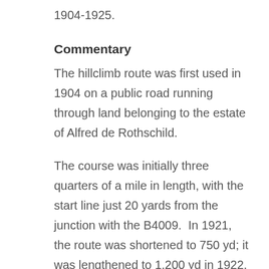1904-1925.
Commentary
The hillclimb route was first used in 1904 on a public road running through land belonging to the estate of Alfred de Rothschild.
The course was initially three quarters of a mile in length, with the start line just 20 yards from the junction with the B4009.  In 1921, the route was shortened to 750 yd; it was lengthened to 1,200 yd in 1922, and operated as both a 968 yd and 400 yd course from 1923.
The road closed for hill climbs in 1925 after the Competitions Committee of the RAC decided not